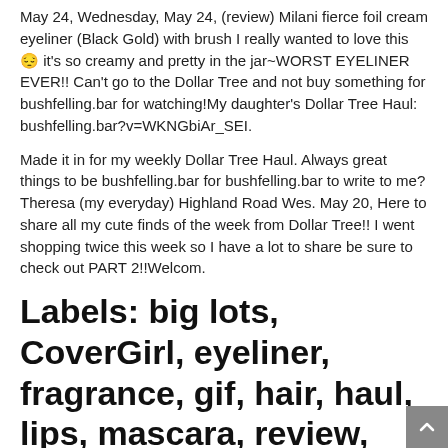May 24, Wednesday, May 24, (review) Milani fierce foil cream eyeliner (Black Gold) with brush I really wanted to love this 😞 it's so creamy and pretty in the jar~WORST EYELINER EVER!! Can't go to the Dollar Tree and not buy something for bushfelling.bar for watching!My daughter's Dollar Tree Haul: bushfelling.bar?v=WKNGbiAr_SEI.
Made it in for my weekly Dollar Tree Haul. Always great things to be bushfelling.bar for bushfelling.bar to write to me?Theresa (my everyday) Highland Road Wes. May 20, Here to share all my cute finds of the week from Dollar Tree!! I went shopping twice this week so I have a lot to share be sure to check out PART 2!!Welcom.
Labels: big lots, CoverGirl, eyeliner, fragrance, gif, hair, haul, lips, mascara, review, Revlon, skincare.
May 07, Hey Bargain Family! Thanks for joining me for another